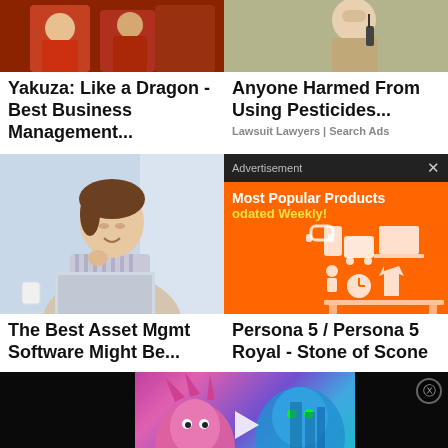[Figure (photo): Top-left article thumbnail: anime/gaming characters in red costumes]
[Figure (photo): Top-right article thumbnail: person holding radio/device outdoors]
Yakuza: Like a Dragon - Best Business Management...
Anyone Harmed From Using Pesticides...
Lawsuit Lawyers | Search Ads
[Figure (photo): Woman smiling at laptop computer]
[Figure (screenshot): Advertisement overlay: Most Popular Products Updated Weekly! with orange background and product icons]
The Best Asset Mgmt Software Might Be...
Persona 5 / Persona 5 Royal - Stone of Scone
[Figure (screenshot): Bottom video player showing animated characters (pink hedgehog and blue dragon) with PLAYS badge and play button]